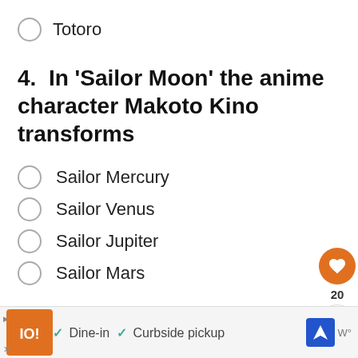Totoro
4.  In ‘Sailor Moon’ the anime character Makoto Kino transforms
Sailor Mercury
Sailor Venus
Sailor Jupiter
Sailor Mars
[Figure (other): Social interaction buttons: heart/like button with count 20, share button, and a gray box below]
[Figure (other): Advertisement bar at bottom showing restaurant with Dine-in and Curbside pickup options]